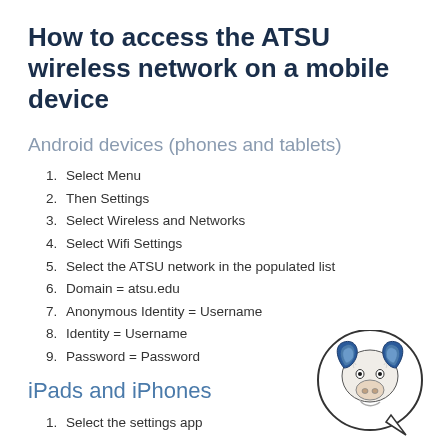How to access the ATSU wireless network on a mobile device
Android devices (phones and tablets)
1. Select Menu
2. Then Settings
3. Select Wireless and Networks
4. Select Wifi Settings
5. Select the ATSU network in the populated list
6. Domain = atsu.edu
7. Anonymous Identity = Username
8. Identity = Username
9. Password = Password
iPads and iPhones
1. Select the settings app
[Figure (illustration): ATSU mascot (ram) illustration in a circular speech bubble shape]